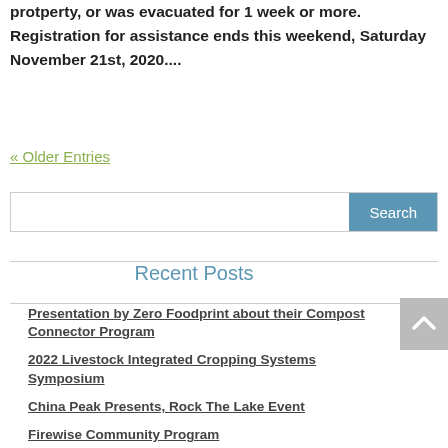protperty, or was evacuated for 1 week or more. Registration for assistance ends this weekend, Saturday November 21st, 2020....
« Older Entries
[Figure (other): Search input field with Search button]
Recent Posts
Presentation by Zero Foodprint about their Compost Connector Program
2022 Livestock Integrated Cropping Systems Symposium
China Peak Presents, Rock The Lake Event
Firewise Community Program